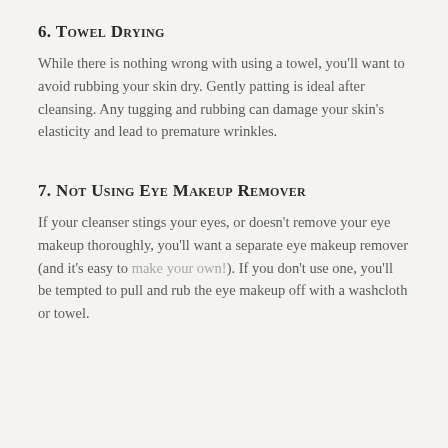6. Towel Drying
While there is nothing wrong with using a towel, you'll want to avoid rubbing your skin dry. Gently patting is ideal after cleansing. Any tugging and rubbing can damage your skin's elasticity and lead to premature wrinkles.
7. Not Using Eye Makeup Remover
If your cleanser stings your eyes, or doesn't remove your eye makeup thoroughly, you'll want a separate eye makeup remover (and it's easy to make your own!). If you don't use one, you'll be tempted to pull and rub the eye makeup off with a washcloth or towel.